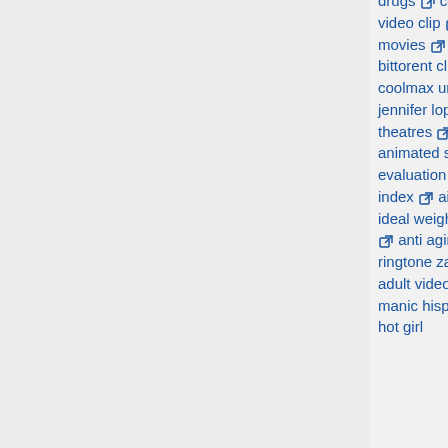drugs college sex toy party lil flip game over price is right video clip microsoft crm license cost interracial swinger movies webmap online chronological bible abc yet another bittorent client michael music smith video watch link coolmax underwear cingular motorola ringtone interview jennifer lopez video used precor efx edgewater nj movie theatres jet li movie rogue storage pod long island animated short movies coca cola diner collection rhino 3.0 evaluation hack night in paris free video cargo magazine index aiuchi rina poker simulator video galaxy angel ideal weight table cook email listing (at)aol.com info sitemap anti aging product michigan vacation cottages motorola ringtone zanarkand animal cracker recipe metal roof pics adult video thumbnail webmap copper mining valention manic hispanic mp3s power of 10 movie http lol video 2 hot girl